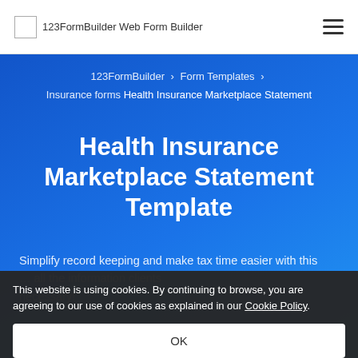123FormBuilder Web Form Builder
123FormBuilder > Form Templates > Insurance forms > Health Insurance Marketplace Statement
Health Insurance Marketplace Statement Template
Simplify record keeping and make tax time easier with this ... necessary!
This website is using cookies. By continuing to browse, you are agreeing to our use of cookies as explained in our Cookie Policy.
OK